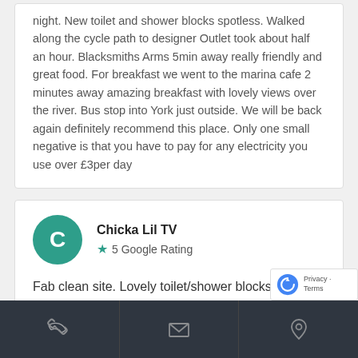night. New toilet and shower blocks spotless. Walked along the cycle path to designer Outlet took about half an hour. Blacksmiths Arms 5min away really friendly and great food. For breakfast we went to the marina cafe 2 minutes away amazing breakfast with lovely views over the river. Bus stop into York just outside. We will be back again definitely recommend this place. Only one small negative is that you have to pay for any electricity you use over £3per day
Chicka Lil TV
5 Google Rating
Fab clean site. Lovely toilet/shower blocks. Would stay here again for sure.
2 years ago